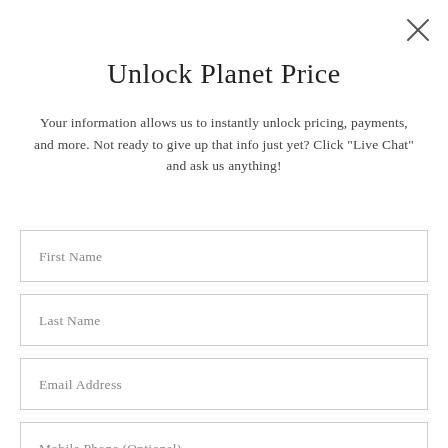[Figure (other): Close/X button in top right corner]
Unlock Planet Price
Your information allows us to instantly unlock pricing, payments, and more. Not ready to give up that info just yet? Click "Live Chat" and ask us anything!
First Name
Last Name
Email Address
Mobile Phone (Optional)
Zip Code